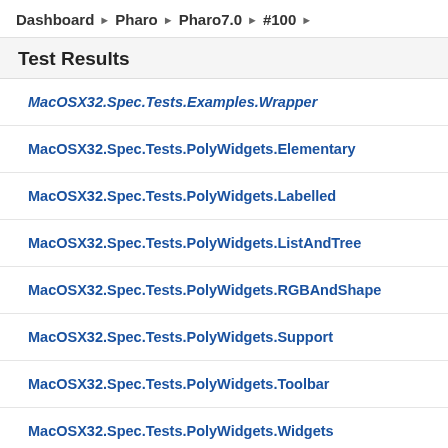Dashboard ▶ Pharo ▶ Pharo7.0 ▶ #100 ▶
Test Results
MacOSX32.Spec.Tests.Examples.Wrapper
MacOSX32.Spec.Tests.PolyWidgets.Elementary
MacOSX32.Spec.Tests.PolyWidgets.Labelled
MacOSX32.Spec.Tests.PolyWidgets.ListAndTree
MacOSX32.Spec.Tests.PolyWidgets.RGBAndShape
MacOSX32.Spec.Tests.PolyWidgets.Support
MacOSX32.Spec.Tests.PolyWidgets.Toolbar
MacOSX32.Spec.Tests.PolyWidgets.Widgets